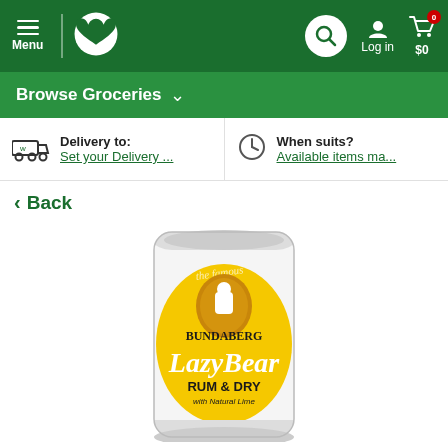Menu | Woolworths | Search | Log in | $0
Browse Groceries
Delivery to: Set your Delivery ...
When suits? Available items ma...
Back
[Figure (photo): Bundaberg Lazy Bear Rum & Dry with Natural Lime can, white and yellow design with polar bear logo]